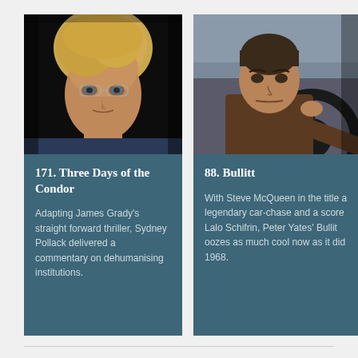[Figure (photo): Close-up portrait of a young blonde man (Robert Redford) looking intensely at camera, dark background]
171. Three Days of the Condor
Adapting James Grady's straight forward thriller, Sydney Pollack delivered a commentary on dehumanising institutions.
[Figure (photo): Man (Steve McQueen) gripping a steering wheel, seen from inside a car, intense expression]
88. Bullitt
With Steve McQueen in the title a legendary car-chase and a score Lalo Schifrin, Peter Yates' Bullit oozes as much cool now as it did 1968.